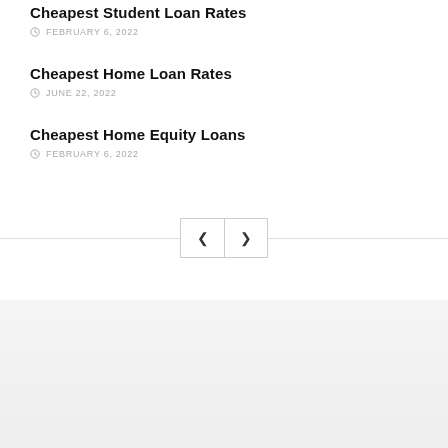Cheapest Student Loan Rates
FEBRUARY 6, 2022
Cheapest Home Loan Rates
JUNE 22, 2022
Cheapest Home Equity Loans
FEBRUARY 6, 2022